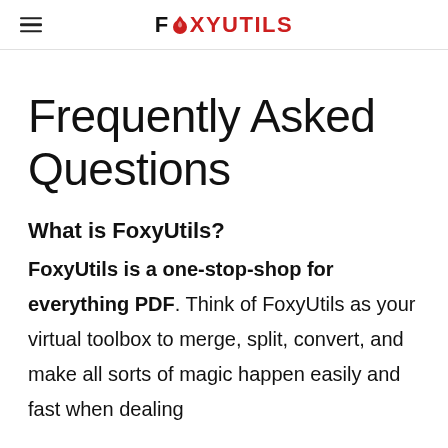FOXYUTILS
Frequently Asked Questions
What is FoxyUtils?
FoxyUtils is a one-stop-shop for everything PDF. Think of FoxyUtils as your virtual toolbox to merge, split, convert, and make all sorts of magic happen easily and fast when dealing